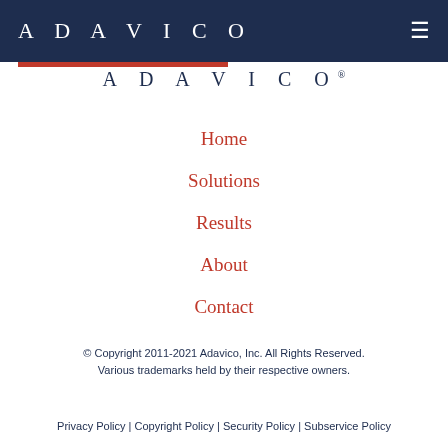ADAVICO
[Figure (logo): ADAVICO logo with red underbar and registered trademark symbol]
Home
Solutions
Results
About
Contact
© Copyright 2011-2021 Adavico, Inc. All Rights Reserved. Various trademarks held by their respective owners.
Privacy Policy | Copyright Policy | Security Policy | Subservice Policy